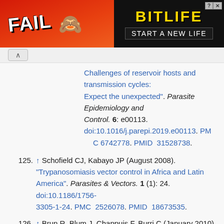[Figure (other): Advertisement banner for BitLife game: red/orange flame background with 'FAIL' text and cartoon character on left, black panel on right with 'BitLife' logo in yellow and 'START A NEW LIFE' text, with a close button.]
Challenges of reservoir hosts and transmission cycles: Expect the unexpected". Parasite Epidemiology and Control. 6: e00113. doi:10.1016/j.parepi.2019.e00113. PMC 6742778. PMID 31528738.
125. ↑ Schofield CJ, Kabayo JP (August 2008). "Trypanosomiasis vector control in Africa and Latin America". Parasites & Vectors. 1 (1): 24. doi:10.1186/1756-3305-1-24. PMC 2526078. PMID 18673535.
126. ↑ Brun R, Blum J, Chappuis F, Burri C (January 2010). "Human African trypanosomiasis". Lancet. 375 (9709): 148–59. doi:10.1016/S0140-6736(09)60829-1. hdl: